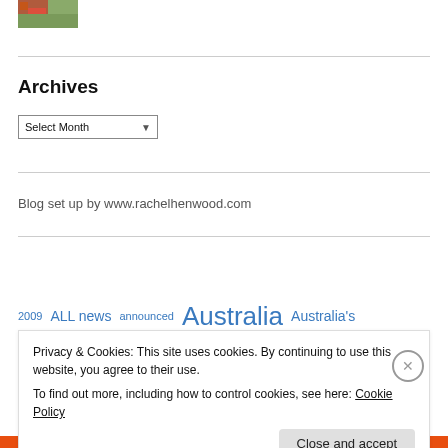[Figure (photo): Small thumbnail photo showing outdoor scene with reddish tones]
Archives
Select Month
Blog set up by www.rachelhenwood.com
2009  ALL news announced  Australia  Australia's
Privacy & Cookies: This site uses cookies. By continuing to use this website, you agree to their use.
To find out more, including how to control cookies, see here: Cookie Policy
Close and accept